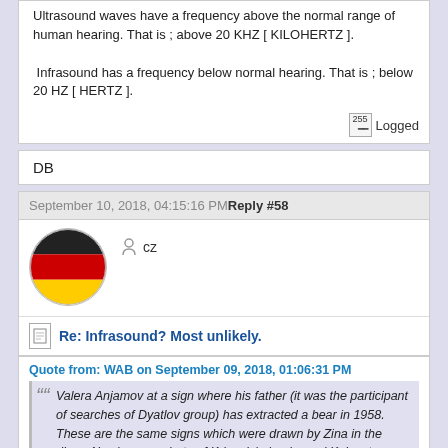Ultrasound waves have a frequency above the normal range of human hearing. That is ; above 20 KHZ [ KILOHERTZ ].
Infrasound has a frequency below normal hearing. That is ; below 20 HZ [ HERTZ ].
Logged
DB
September 10, 2018, 04:15:16 PM Reply #58
cz
[Figure (illustration): German flag as a circle avatar - black, red, and gold horizontal stripes]
Re: Infrasound? Most unlikely.
Quote from: WAB on September 09, 2018, 01:06:31 PM
Valera Anjamov at a sign where his father (it was the participant of searches of Dyatlov group) has extracted a bear in 1958. These are the same signs which were drawn by Zina in the diary. Also be on a photo of Krivonishchenko and Kolevatov. Their decoding me managed to be received in 2008 at brother Valera - Roman. Valera has ended the Moscow university of cinematography as the operator of documentary cinema, then was assistant the deputy Hunts